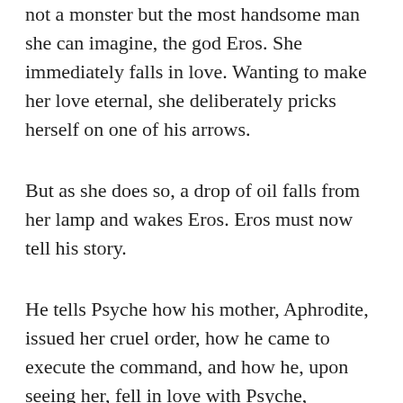not a monster but the most handsome man she can imagine, the god Eros. She immediately falls in love. Wanting to make her love eternal, she deliberately pricks herself on one of his arrows.
But as she does so, a drop of oil falls from her lamp and wakes Eros. Eros must now tell his story.
He tells Psyche how his mother, Aphrodite, issued her cruel order, how he came to execute the command, and how he, upon seeing her, fell in love with Psyche, deciding to take her as his wife.